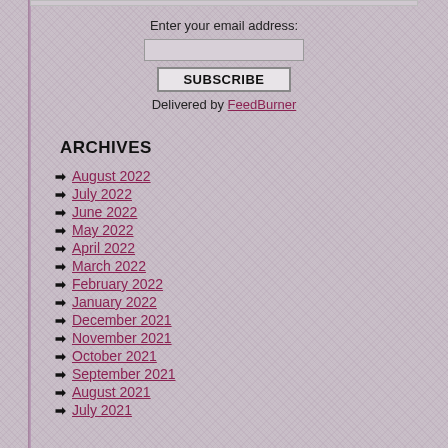Enter your email address:
SUBSCRIBE
Delivered by FeedBurner
ARCHIVES
August 2022
July 2022
June 2022
May 2022
April 2022
March 2022
February 2022
January 2022
December 2021
November 2021
October 2021
September 2021
August 2021
July 2021